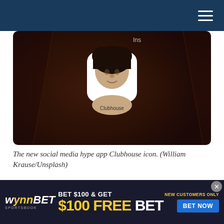Navigation header with hamburger menu
[Figure (photo): Close-up photo of a smartphone screen showing the Clubhouse app icon on a dark background]
The new social media hype app Clubhouse icon. (William Krause/Unsplash)
PUNE, India —  U.S.-based social network startup Clubhouse recently made a splash when people like Facebook Chief Executive Mark
[Figure (infographic): WynnBet Sportsbook advertisement banner: BET $100 & GET $100 FREE BET — NEW CUSTOMERS ONLY — BET NOW]